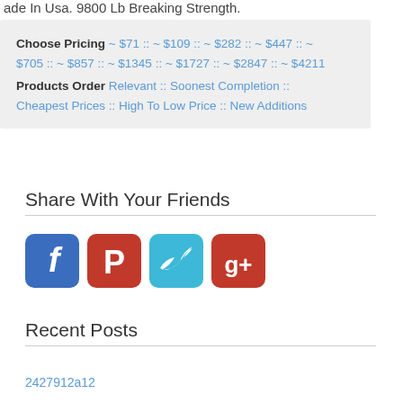ade In Usa. 9800 Lb Breaking Strength.
Choose Pricing ~ $71 :: ~ $109 :: ~ $282 :: ~ $447 :: ~ $705 :: ~ $857 :: ~ $1345 :: ~ $1727 :: ~ $2847 :: ~ $4211
Products Order Relevant :: Soonest Completion :: Cheapest Prices :: High To Low Price :: New Additions
Share With Your Friends
[Figure (illustration): Four social media share buttons: Facebook (blue), Pinterest (red), Twitter (cyan/blue), Google+ (red)]
Recent Posts
2427912a12